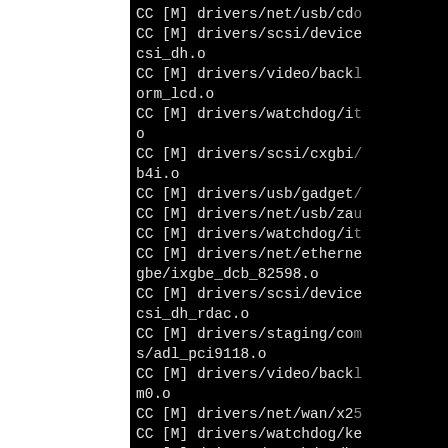[Figure (screenshot): Terminal/console output showing Linux kernel build (CC/LD) compilation lines for various drivers including net/usb, scsi/device, video/backlight, watchdog, usb/gadget, net/ethernet, staging, net/wan, and scsi/esas2r. Black background with white monospace text. Left portion of page is white (cropped/split view).]